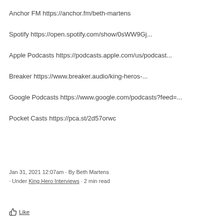Anchor FM https://anchor.fm/beth-martens
Spotify https://open.spotify.com/show/0sWW9Gj...
Apple Podcasts https://podcasts.apple.com/us/podcast...
Breaker https://www.breaker.audio/king-heros-...
Google Podcasts https://www.google.com/podcasts?feed=...
Pocket Casts https://pca.st/2d57orwc
Jan 31, 2021 12:07am · By Beth Martens · Under King Hero Interviews · 2 min read
Like